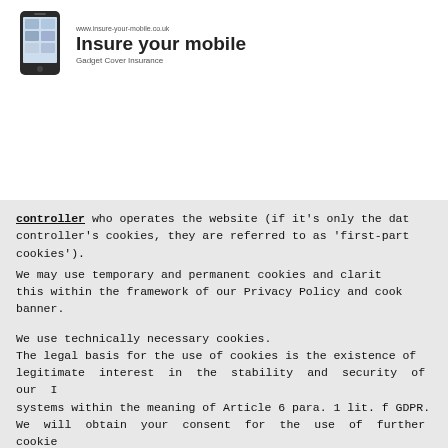www.insure-your-mobile.co.uk | Insure your mobile | Gadget Cover Insurance
controller who operates the website (if it's only the data controller's cookies, they are referred to as 'first-party cookies'). We may use temporary and permanent cookies and clarify this within the framework of our Privacy Policy and cookie banner.
We use technically necessary cookies. The legal basis for the use of cookies is the existence of legitimate interest in the stability and security of our IT systems within the meaning of Article 6 para. 1 lit. f GDPR. We will obtain your consent for the use of further cookies (legal basis Article 6 para 1 a GDPR) via our cookie banner. Privacy Settings